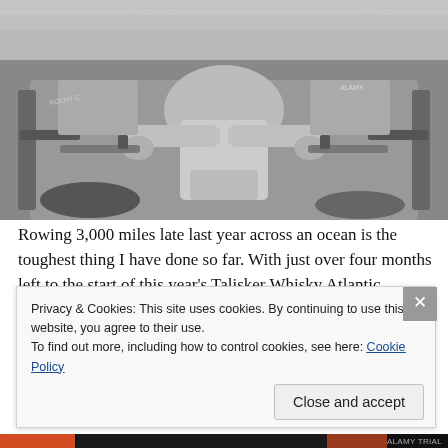[Figure (photo): Black and white photograph of a person rowing in a boat on the ocean, viewed from above showing hands on oars and equipment in the boat]
Rowing 3,000 miles late last year across an ocean is the toughest thing I have done so far. With just over four months left to the start of this year's Talisker Whisky Atlantic Challenge, I know how fortunate we were not to have had our training disrupted by a global pandemic. Yet the crews I know taking part this time have adapted well to cope, spending more time on their ergometers, pumping
Privacy & Cookies: This site uses cookies. By continuing to use this website, you agree to their use.
To find out more, including how to control cookies, see here: Cookie Policy
Close and accept